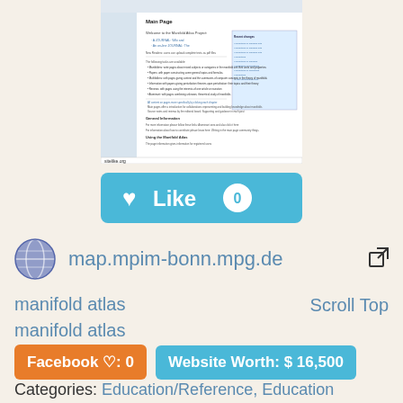[Figure (screenshot): Screenshot of map.mpim-bonn.mpg.de (Manifold Atlas Project main page) with sitelike.org watermark at bottom]
[Figure (other): Teal Like button with heart icon showing count of 0]
map.mpim-bonn.mpg.de
manifold atlas
manifold atlas
Scroll Top
Facebook ♡: 0
Website Worth: $ 16,500
Categories: Education/Reference, Education